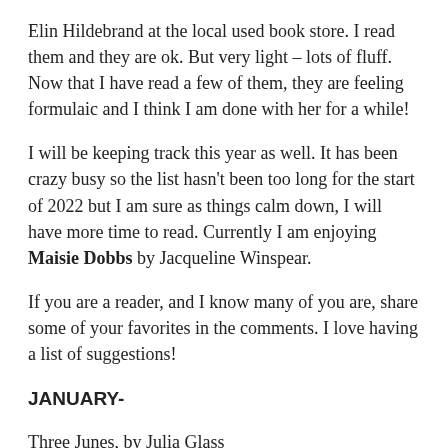Elin Hildebrand at the local used book store. I read them and they are ok. But very light – lots of fluff. Now that I have read a few of them, they are feeling formulaic and I think I am done with her for a while!
I will be keeping track this year as well. It has been crazy busy so the list hasn't been too long for the start of 2022 but I am sure as things calm down, I will have more time to read. Currently I am enjoying Maisie Dobbs by Jacqueline Winspear.
If you are a reader, and I know many of you are, share some of your favorites in the comments. I love having a list of suggestions!
JANUARY-
Three Junes, by Julia Glass